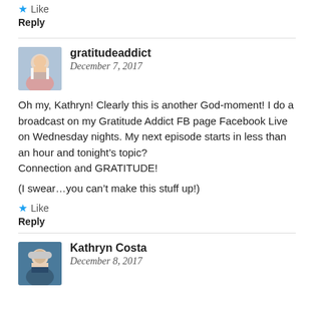Like
Reply
gratitudeaddict
December 7, 2017
Oh my, Kathryn! Clearly this is another God-moment! I do a broadcast on my Gratitude Addict FB page Facebook Live on Wednesday nights. My next episode starts in less than an hour and tonight’s topic?
Connection and GRATITUDE!

(I swear…you can’t make this stuff up!)
Like
Reply
Kathryn Costa
December 8, 2017